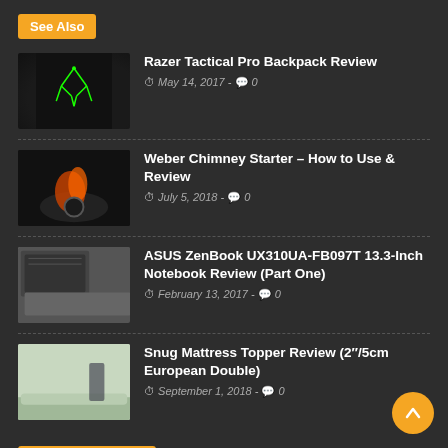See Also
Razer Tactical Pro Backpack Review
May 14, 2017 - 0
Weber Chimney Starter – How to Use & Review
July 5, 2018 - 0
ASUS ZenBook UX310UA-FB097T 13.3-Inch Notebook Review (Part One)
February 13, 2017 - 0
Snug Mattress Topper Review (2"/5cm European Double)
September 1, 2018 - 0
Most Popular Post
Samsonite Prodigy Spinner Review (55cm Expandable 4 Wheel)